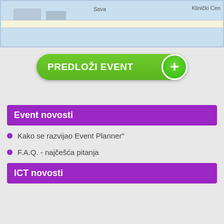[Figure (map): Partial street map showing Sava area with Klinički Centar label visible]
PREDLOŽI EVENT +
Event novosti
Kako se razvijao Event Planner"
F.A.Q. - najčešća pitanja
ICT novosti